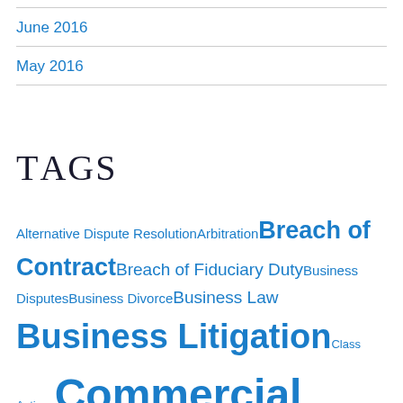June 2016
May 2016
Tags
Alternative Dispute Resolution Arbitration Breach of Contract Breach of Fiduciary Duty Business Disputes Business Divorce Business Law Business Litigation Class Actions Commercial Litigation Complex Litigation Construction Litigation Contract